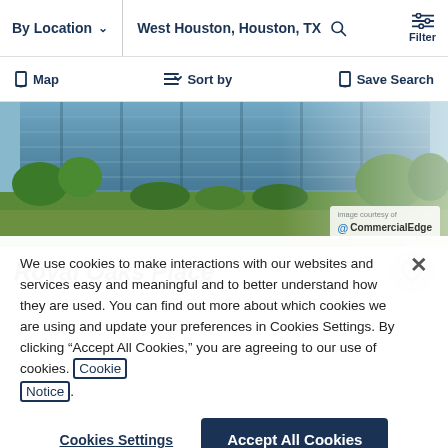By Location   West Houston, Houston, TX   Filter
Map   Sort by   Save Search
[Figure (photo): Exterior photo of a modern glass office building with trees and landscaping in front. Image courtesy of CommercialEdge.]
Royal Oaks Place
We use cookies to make interactions with our websites and services easy and meaningful and to better understand how they are used. You can find out more about which cookies we are using and update your preferences in Cookies Settings. By clicking “Accept All Cookies,” you are agreeing to our use of cookies. Cookie Notice.
Cookies Settings   Accept All Cookies